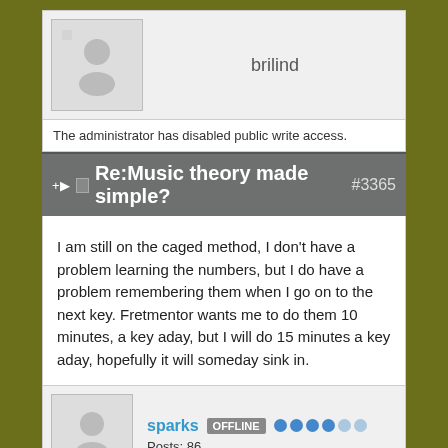brilind
The administrator has disabled public write access.
Re:Music theory made simple? #3365
I am still on the caged method, I don't have a problem learning the numbers, but I do have a problem remembering them when I go on to the next key. Fretmentor wants me to do them 10 minutes, a key aday, but I will do 15 minutes a key aday, hopefully it will someday sink in.
sparks  OFFLINE   Posts: 86